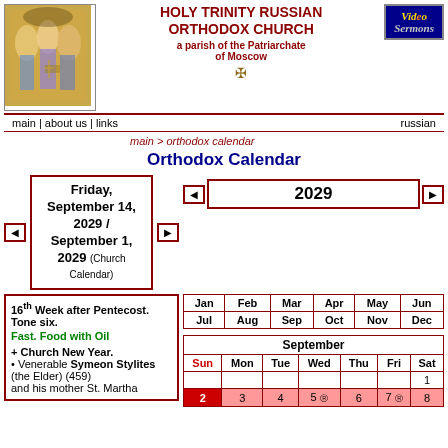HOLY TRINITY RUSSIAN ORTHODOX CHURCH
a parish of the Patriarchate of Moscow
[Figure (illustration): Russian Orthodox icon of the Holy Trinity]
[Figure (logo): Video Sermons badge]
main | about us | links    russian
main > orthodox calendar
Orthodox Calendar
Friday, September 14, 2029 / September 1, 2029 (Church Calendar)
2029
16th Week after Pentecost. Tone six. Fast. Food with Oil
+ Church New Year.
• Venerable Symeon Stylites (the Elder) (459) and his mother St. Martha
| Jan | Feb | Mar | Apr | May | Jun | Jul | Aug | Sep | Oct | Nov | Dec |
| --- | --- | --- | --- | --- | --- | --- | --- | --- | --- | --- | --- |
| Sun | Mon | Tue | Wed | Thu | Fri | Sat |
| --- | --- | --- | --- | --- | --- | --- |
|  |  |  |  |  |  | 1 |
| 2 | 3 | 4 | 5 © | 6 | 7 © | 8 |